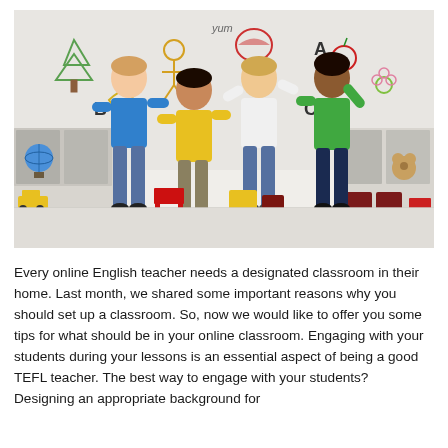[Figure (photo): Four children standing joyfully in a colorful classroom. From left to right: a boy in a blue shirt, a child in a yellow shirt, a child in a white shirt, and a girl in a green shirt. Behind them are white shelving units with toys, a globe, and colored bins. Childlike drawings of trees, animals, letters A, B, C, and fruits are illustrated on the wall behind them.]
Every online English teacher needs a designated classroom in their home. Last month, we shared some important reasons why you should set up a classroom. So, now we would like to offer you some tips for what should be in your online classroom. Engaging with your students during your lessons is an essential aspect of being a good TEFL teacher. The best way to engage with your students? Designing an appropriate background for